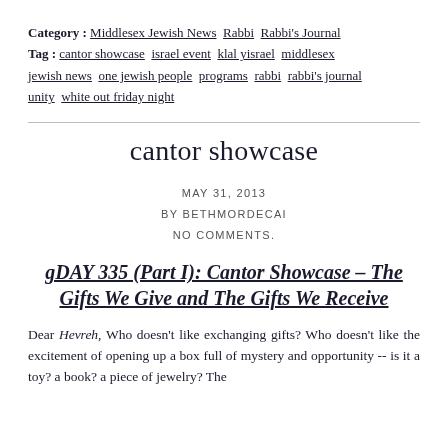Category : Middlesex Jewish News  Rabbi  Rabbi's Journal
Tag : cantor showcase  israel event  klal yisrael  middlesex jewish news  one jewish people  programs  rabbi  rabbi's journal  unity  white out friday night
cantor showcase
MAY 31, 2013
BY BETHMORDECAI
NO COMMENTS.
gDAY 335 (Part I): Cantor Showcase – The Gifts We Give and The Gifts We Receive
Dear Hevreh, Who doesn't like exchanging gifts? Who doesn't like the excitement of opening up a box full of mystery and opportunity -- is it a toy? a book? a piece of jewelry? The